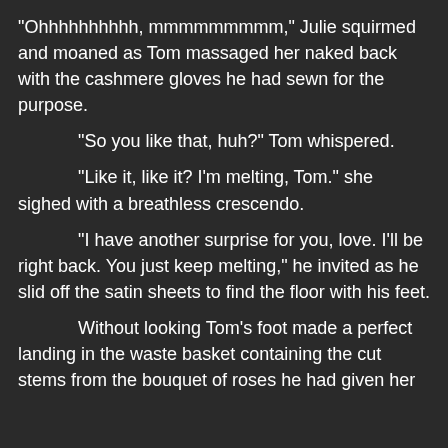“Ohhhhhhhhhh, mmmmmmmmm,” Julie squirmed and moaned as Tom massaged her naked back with the cashmere gloves he had sewn for the purpose.
“So you like that, huh?” Tom whispered.
“Like it, like it? I’m melting, Tom.” she sighed with a breathless crescendo.
“I have another surprise for you, love. I’ll be right back. You just keep melting,” he invited as he slid off the satin sheets to find the floor with his feet.
Without looking Tom’s foot made a perfect landing in the waste basket containing the cut stems from the bouquet of roses he had given her